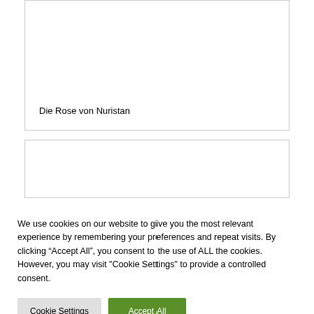Die Rose von Nuristan
[Figure (other): Empty card/image placeholder (second card, partially visible)]
We use cookies on our website to give you the most relevant experience by remembering your preferences and repeat visits. By clicking “Accept All”, you consent to the use of ALL the cookies. However, you may visit "Cookie Settings" to provide a controlled consent.
Cookie Settings
Accept All